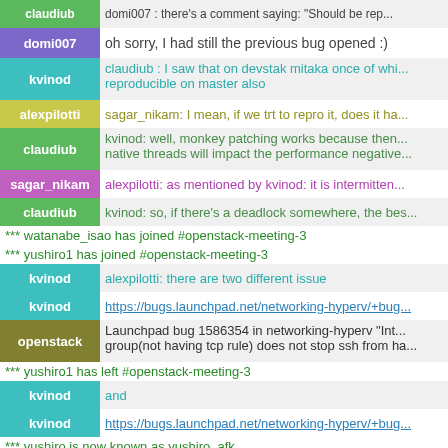claudiub | domi007 : there's a comment saying: 'Should be rep...'
domi007 | oh sorry, I had still the previous bug opened :)
kvinod | claudiub : I saw that on devstak mitaka once of whi... reproducible on master also
alexpilotti | sagar_nikam: I mean, if we trt to repro it, does it ha...
claudiub | kvinod: well, monkey patching works because then... native threads will impact the performance negative...
sagar_nikam | alexpilotti: as mentioned by kvinod: it is intermitten...
claudiub | kvinod: so, if there's a deadlock somewhere, the bes...
*** watanabe_isao has joined #openstack-meeting-3
*** yushiro1 has joined #openstack-meeting-3
kvinod | alexpilotti: there are two different issue
kvinod | https://bugs.launchpad.net/networking-hyperv/+bug...
openstack | Launchpad bug 1586354 in networking-hyperv "Int... group(not having tcp rule) does not stop ssh from ha...
*** yushiro1 has left #openstack-meeting-3
kvinod | and
kvinod | https://bugs.launchpad.net/networking-hyperv/+bug...
*** yushiro is now known as yushiro_afk
kvinod | sorry https://bugs.launchpad.net/networking-hyperv...
openstack | Launchpad bug 1583541 in networking-hyperv "Hy...
*** yushiro_afk is now known as yushiro